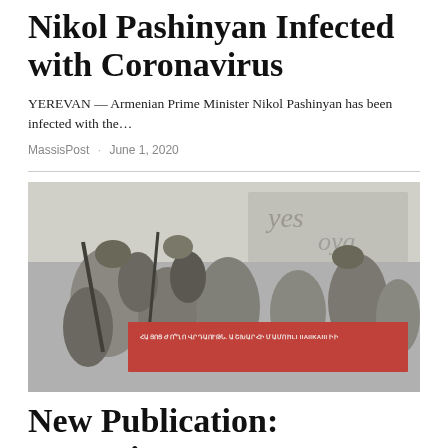Nikol Pashinyan Infected with Coronavirus
YEREVAN — Armenian Prime Minister Nikol Pashinyan has been infected with the…
MassisPost · June 1, 2020
[Figure (photo): Book cover image showing historical illustration related to the Armenian Genocide, with a red banner reading: ARMENIAN GENOCIDE: FRONTPAGE COVERAGE IN THE WORLD PRESS]
New Publication: Armenian